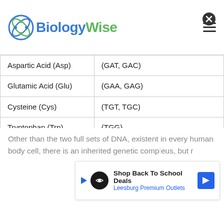BiologyWise
| Amino Acid | Codons |
| --- | --- |
| Aspartic Acid (Asp) | (GAT, GAC) |
| Glutamic Acid (Glu) | (GAA, GAG) |
| Cysteine (Cys) | (TGT, TGC) |
| Tryptophan (Trp) | (TGG) |
| Arginine (Arg) | (CGT, CGC, CGA, CGG, AGA, AGG) |
| Glycine (Gly) | (GGT, GGC, GGA, GGG) |
| Isoleucine (Ile) | (ATT, ATC, ATA) |
| Stop Codon | (TAA, TAG, TGA) |
Other than the two full sets of DNA, existent in every human body cell, there is an inherited genetic comp... us, but r...